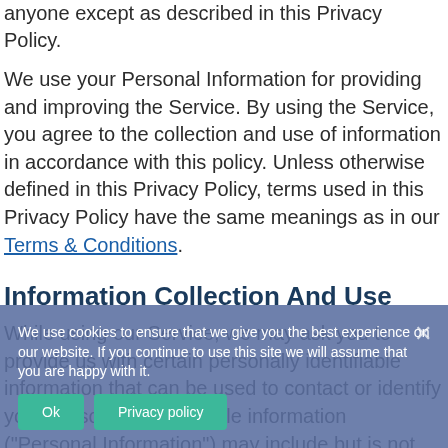anyone except as described in this Privacy Policy.
We use your Personal Information for providing and improving the Service. By using the Service, you agree to the collection and use of information in accordance with this policy. Unless otherwise defined in this Privacy Policy, terms used in this Privacy Policy have the same meanings as in our Terms & Conditions.
Information Collection And Use
While using our Service, we may ask you to provide us with certain personally identifiable information that can be used to contact or identify you. Personally identifiable information ("Personal Information") may include but is not limited to:
We use cookies to ensure that we give you the best experience on our website. If you continue to use this site we will assume that you are happy with it.